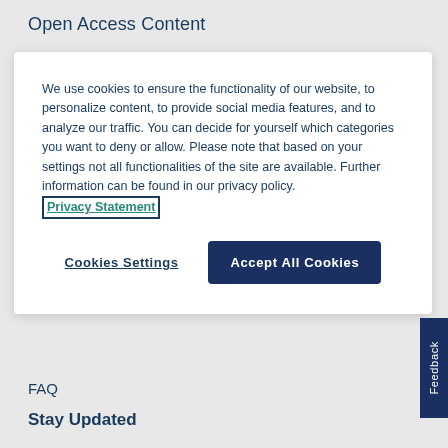Open Access Content
We use cookies to ensure the functionality of our website, to personalize content, to provide social media features, and to analyze our traffic. You can decide for yourself which categories you want to deny or allow. Please note that based on your settings not all functionalities of the site are available. Further information can be found in our privacy policy. Privacy Statement
Cookies Settings
Accept All Cookies
FAQ
Stay Updated
Blog
Newsletters
News